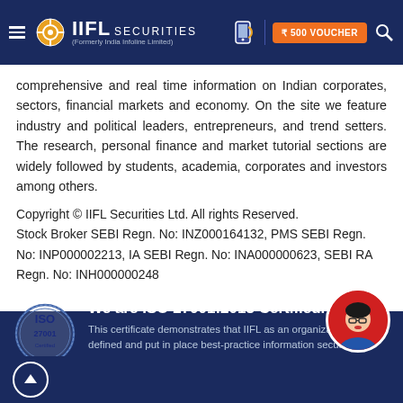IIFL Securities (Formerly India Infoline Limited) — ₹500 VOUCHER
comprehensive and real time information on Indian corporates, sectors, financial markets and economy. On the site we feature industry and political leaders, entrepreneurs, and trend setters. The research, personal finance and market tutorial sections are widely followed by students, academia, corporates and investors among others.
Copyright © IIFL Securities Ltd. All rights Reserved.
Stock Broker SEBI Regn. No: INZ000164132, PMS SEBI Regn. No: INP000002213, IA SEBI Regn. No: INA000000623, SEBI RA Regn. No: INH000000248
[Figure (logo): ISO 27001 certified seal, circular blue stamp with ISO 27001 text]
We are ISO 27001:2013 Certified. This certificate demonstrates that IIFL as an organization has defined and put in place best-practice information security processes.
[Figure (illustration): Cartoon avatar of a woman with glasses, red background circle, bottom-right corner]